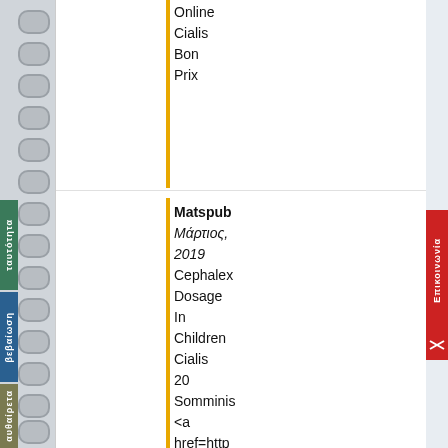Online Cialis Bon Prix
Matspub Μάρτιος, 2019 Cephalex Dosage In Children Cialis 20 Somminis <a href=http canada</ Buy Nexium Usa
oroyaew Μάρτιος, 2019 http://thep